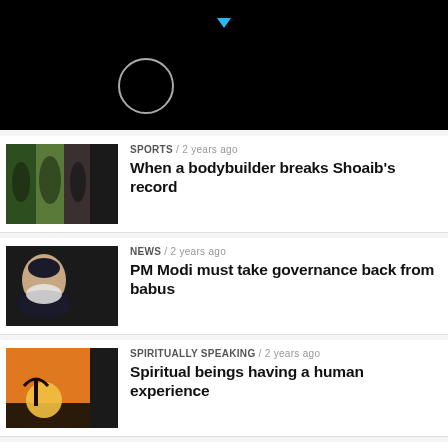[Figure (screenshot): Black header area with a small blue downward-pointing triangle icon at top center and a white circle outline below it]
SPORTS / 2 years ago — When a bodybuilder breaks Shoaib's record
NEWS / 2 years ago — PM Modi must take governance back from babus
SPIRITUALLY SPEAKING / 2 years ago — Spiritual beings having a human experience
NEWS / 2 years ago — Chinese general ordered attack on Indian troops: US intel report